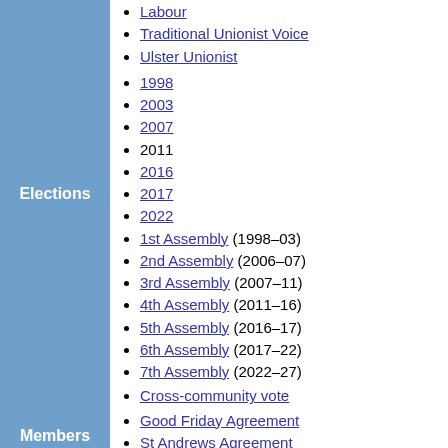Labour
Traditional Unionist Voice
Ulster Unionist
Elections
1998
2003
2007
2011
2016
2017
2022
Members
1st Assembly (1998–03)
2nd Assembly (2006–07)
3rd Assembly (2007–11)
4th Assembly (2011–16)
5th Assembly (2016–17)
6th Assembly (2017–22)
7th Assembly (2022–27)
Procedure
Cross-community vote
See also
Good Friday Agreement
St Andrews Agreement
New Decade, New Approach